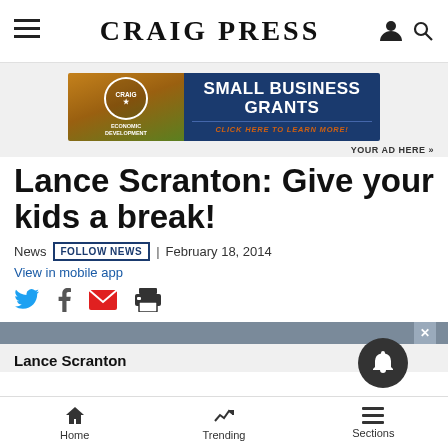Craig Press
[Figure (infographic): Craig Economic Development Small Business Grants advertisement banner with golden-brown left panel featuring badge and 'ECONOMIC DEVELOPMENT' text, and dark blue right panel with 'SMALL BUSINESS GRANTS' headline and 'CLICK HERE TO LEARN MORE!' subtext in orange.]
YOUR AD HERE »
Lance Scranton: Give your kids a break!
News  FOLLOW NEWS  | February 18, 2014
View in mobile app
Lance Scranton
Home  Trending  Sections